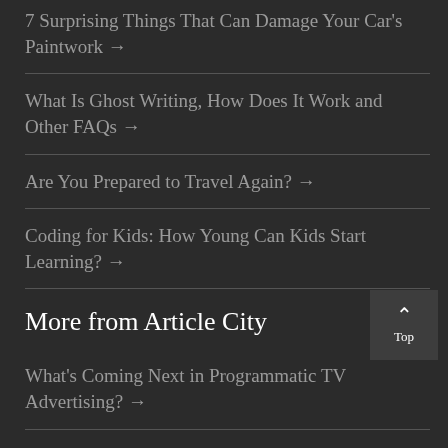7 Surprising Things That Can Damage Your Car's Paintwork →
What Is Ghost Writing, How Does It Work and Other FAQs →
Are You Prepared to Travel Again? →
Coding for Kids: How Young Can Kids Start Learning? →
More from Article City
What's Coming Next in Programmatic TV Advertising? →
Home PRESS RELEASE How to Prepare for the U.S. Department of Defense's Upcoming Cybersecurity (CMS)...